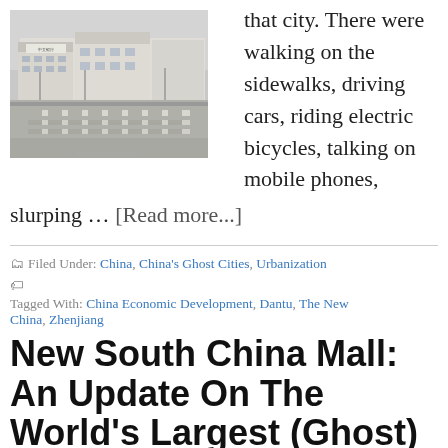[Figure (photo): Street scene in China showing a wide intersection with zebra crossing, multi-story commercial buildings, and overcast sky. Watermark reads www.VagabondJourney.com]
that city. There were walking on the sidewalks, driving cars, riding electric bicycles, talking on mobile phones, slurping ... [Read more...]
Filed Under: China, China's Ghost Cities, Urbanization
Tagged With: China Economic Development, Dantu, The New China, Zhenjiang
New South China Mall: An Update On The World's Largest (Ghost) Mall